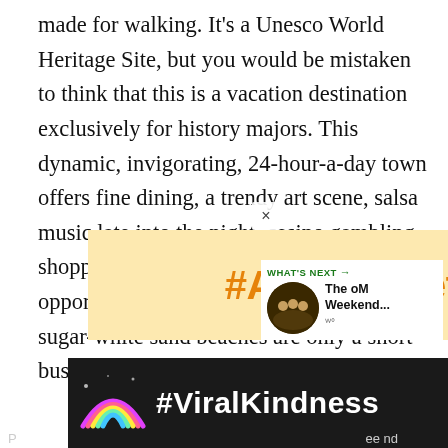made for walking. It's a Unesco World Heritage Site, but you would be mistaken to think that this is a vacation destination exclusively for history majors. This dynamic, invigorating, 24-hour-a-day town offers fine dining, a trendy art scene, salsa music late into the night, casino gambling, shopping and lots of active recreational opportunities. Of course, don't forget that sugar-white sand beaches are only a short bus ride from the old city.
[Figure (screenshot): Advertisement banner with orange bold text '#AloneTogether' on a light yellow background]
[Figure (screenshot): What's Next promo box showing thumbnail image and title 'The oM Weekend...']
[Figure (screenshot): Advertisement banner with '#ViralKindness' text in white on dark background with rainbow illustration]